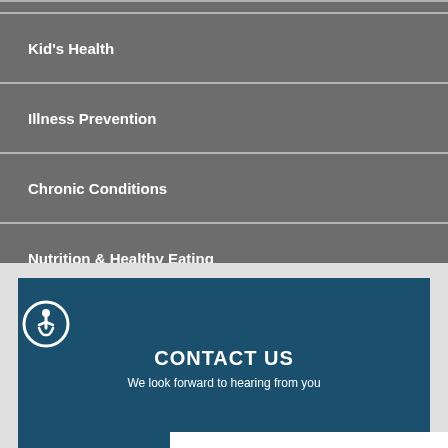Kid's Health
Illness Prevention
Chronic Conditions
Nutrition & Healthy Eating
CONTACT US
We look forward to hearing from you